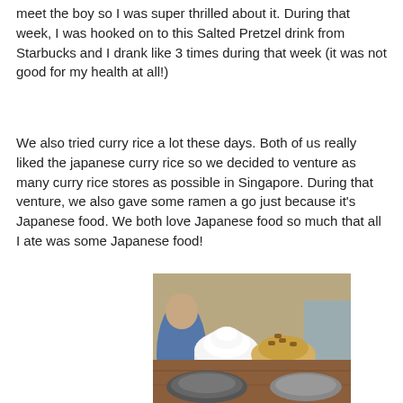meet the boy so I was super thrilled about it. During that week, I was hooked on to this Salted Pretzel drink from Starbucks and I drank like 3 times during that week (it was not good for my health at all!)
We also tried curry rice a lot these days. Both of us really liked the japanese curry rice so we decided to venture as many curry rice stores as possible in Singapore. During that venture, we also gave some ramen a go just because it's Japanese food. We both love Japanese food so much that all I ate was some Japanese food!
[Figure (photo): Two Starbucks Frappuccino cups on a wooden table, one with white whipped cream topping and one with caramel/salted pretzel topping, in a busy cafe setting]
[Figure (photo): Partial view of food items on a table, bottom of the page]